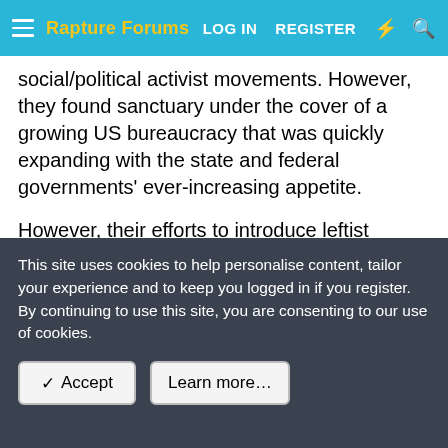Rapture Forums — LOG IN   REGISTER
social/political activist movements. However, they found sanctuary under the cover of a growing US bureaucracy that was quickly expanding with the state and federal governments' ever-increasing appetite.
However, their efforts to introduce leftist ideology and influence society should be viewed as a smashing success, seeing just how far they have managed to infiltrate the US education system, the media, pop culture, and the Democratic Party. Here is how it worked.
From the smoke-filled backrooms of pubs and diners in Austria
This site uses cookies to help personalise content, tailor your experience and to keep you logged in if you register.
By continuing to use this site, you are consenting to our use of cookies.